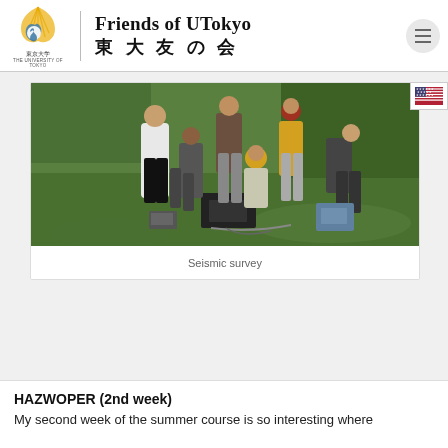Friends of UTokyo 東 大 友 の 会
[Figure (photo): Group of people outdoors in a grassy field, gathered around seismic survey equipment, some kneeling and bending over the device]
Seismic survey
HAZWOPER (2nd week)
My second week of the summer course is so interesting where